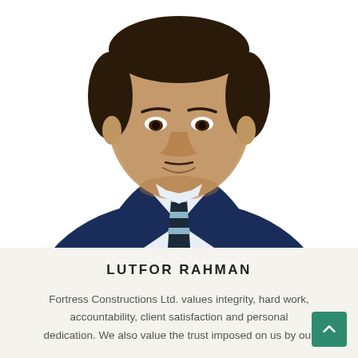[Figure (photo): Professional headshot of Lutfor Rahman, a man in a dark navy blue suit with a white shirt and a dark striped tie with light blue accents, against a white background.]
LUTFOR RAHMAN
Fortress Constructions Ltd. values integrity, hard work, accountability, client satisfaction and personal dedication. We also value the trust imposed on us by our